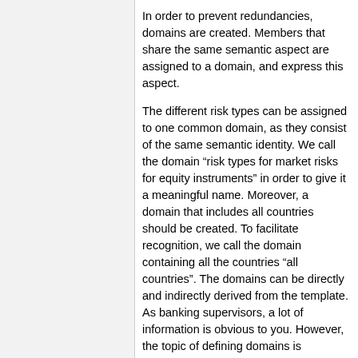In order to prevent redundancies, domains are created. Members that share the same semantic aspect are assigned to a domain, and express this aspect.
The different risk types can be assigned to one common domain, as they consist of the same semantic identity. We call the domain “risk types for market risks for equity instruments” in order to give it a meaningful name. Moreover, a domain that includes all countries should be created. To facilitate recognition, we call the domain containing all the countries “all countries”. The domains can be directly and indirectly derived from the template. As banking supervisors, a lot of information is obvious to you. However, the topic of defining domains is important. One further example is given by using Euros for identifying the currency of the figures. We may also add US-Dollars, Pound and names for other currencies that may be applicable, and add them to a domain named “all currencies”. We could also introduce a domain that holds information about the